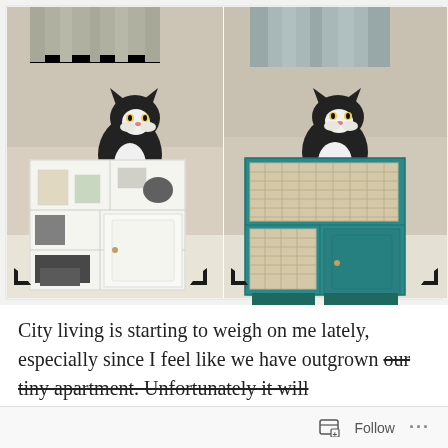[Figure (photo): Side-by-side before and after photos of a storage cabinet. Left: white cabinet with a black-and-white cat sitting on top, shelves filled with various items, white beadboard door. Right: same cabinet painted teal/turquoise with woven basket drawers, same cat sitting on top.]
City living is starting to weigh on me lately, especially since I feel like we have outgrown our tiny apartment. Unfortunately it will
[Figure (other): Follow button with icon and ellipsis menu at bottom of page]